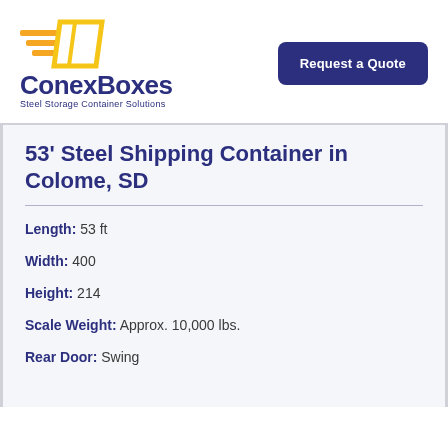[Figure (logo): ConexBoxes logo with orange arrow/box icon and dark blue text reading 'ConexBoxes' and subtitle 'Steel Storage Container Solutions']
[Figure (other): Dark navy blue 'Request a Quote' button in top right corner]
53' Steel Shipping Container in Colome, SD
Length: 53 ft
Width: 400
Height: 214
Scale Weight: Approx. 10,000 lbs.
Rear Door: Swing